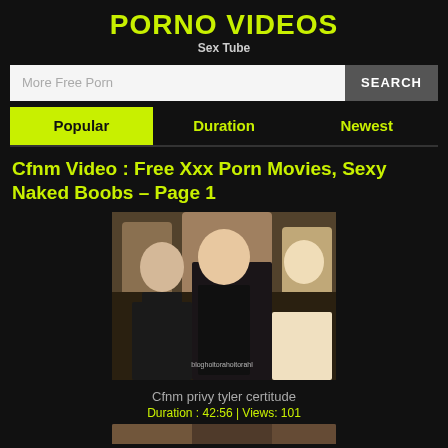PORNO VIDEOS
Sex Tube
More Free Porn
SEARCH
Popular
Duration
Newest
Cfnm Video : Free Xxx Porn Movies, Sexy Naked Boobs – Page 1
[Figure (photo): Video thumbnail showing three blonde women in a room]
Cfnm privy tyler certitude
Duration : 42:56 | Views: 101
[Figure (photo): Partial thumbnail of another video at the bottom]